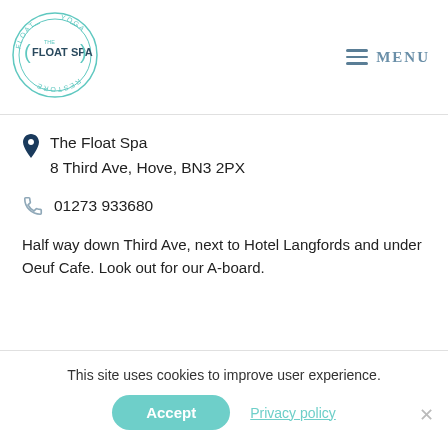[Figure (logo): The Float Spa circular logo with 'Float Yoga Restore' text around the edge and 'The Float Spa' in the center]
Menu
The Float Spa
8 Third Ave, Hove, BN3 2PX
01273 933680
Half way down Third Ave, next to Hotel Langfords and under Oeuf Cafe. Look out for our A-board.
This site uses cookies to improve user experience.
Accept
Privacy policy